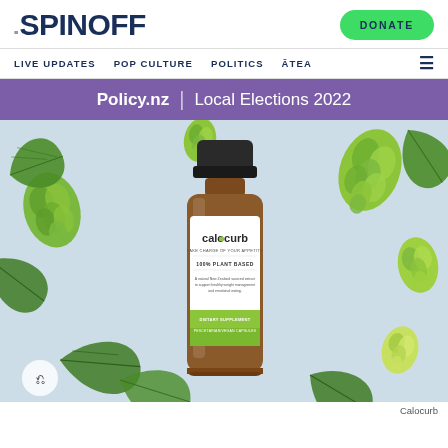THE SPINOFF
LIVE UPDATES   POP CULTURE   POLITICS   ĀTEA
Policy.nz | Local Elections 2022
[Figure (photo): Calocurb supplement bottle with amber glass, white label reading 'calocurb TAKE CHARGE OF YOUR APPETITE 100% PLANT BASED - A natural New Zealand sourced extract to support healthy weight management and emotional eating. DIETARY SUPPLEMENT PESCETARIAN/VEGAN CAPSULES', surrounded by illustrated green hop leaves and hop cones on a light blue-grey background.]
Calocurb